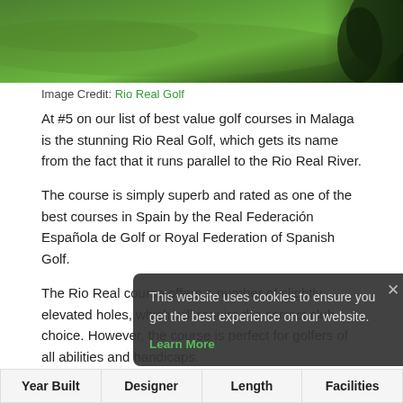[Figure (photo): Aerial/ground level view of a green golf course with dark tree shadows on the right side.]
Image Credit: Rio Real Golf
At #5 on our list of best value golf courses in Malaga is the stunning Rio Real Golf, which gets its name from the fact that it runs parallel to the Rio Real River.
The course is simply superb and rated as one of the best courses in Spain by the Real Federación Española de Golf or Royal Federation of Spanish Golf.
The Rio Real course offers a number of slightly elevated holes, which will require the correct club choice. However, the course is perfect for golfers of all abilities and handicaps.
The course offers some amazing sea views and is nestled among lots of different varieties of trees including olive, cypress, pine, palm and casuarinas.
[Figure (screenshot): Cookie consent overlay popup with dark background showing: 'This website uses cookies to ensure you get the best experience on our website.' with a green 'Learn More' link and a close (×) button.]
| Year Built | Designer | Length | Facilities |
| --- | --- | --- | --- |